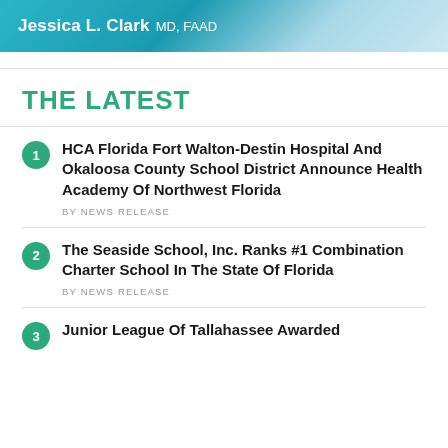[Figure (other): Advertisement banner for Jessica L. Clark, MD, FAAD — teal/blue gradient background with white text and a partial photo of a woman]
THE LATEST
HCA Florida Fort Walton-Destin Hospital And Okaloosa County School District Announce Health Academy Of Northwest Florida
BY NEWS RELEASE
The Seaside School, Inc. Ranks #1 Combination Charter School In The State Of Florida
BY NEWS RELEASE
Junior League Of Tallahassee Awarded